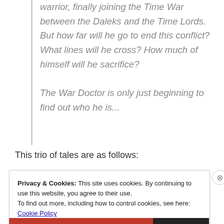warrior, finally joining the Time War between the Daleks and the Time Lords. But how far will he go to end this conflict? What lines will he cross? How much of himself will he sacrifice? The War Doctor is only just beginning to find out who he is...
This trio of tales are as follows:
Privacy & Cookies: This site uses cookies. By continuing to use this website, you agree to their use.
To find out more, including how to control cookies, see here: Cookie Policy
Close and accept